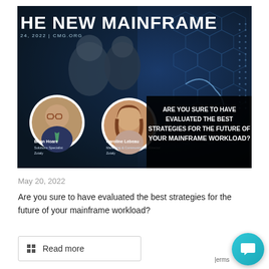[Figure (photo): Promotional banner for 'The New Mainframe' webinar dated 2022 | CMG.ORG. Features two circular headshot photos of Brian Hoare (Solutions Specialist, Zotaly) and Caroline Lebeau (Marketing & Communication Director, Zotaly) on a dark tech background with hexagonal patterns and glowing blue interface. Text overlay on right reads 'ARE YOU SURE TO HAVE EVALUATED THE BEST STRATEGIES FOR THE FUTURE OF YOUR MAINFRAME WORKLOAD?']
May 20, 2022
Are you sure to have evaluated the best strategies for the future of your mainframe workload?
Read more